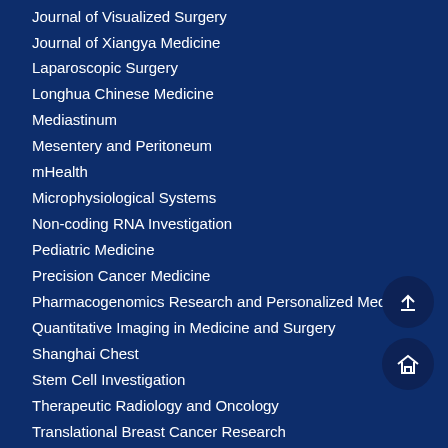Journal of Visualized Surgery
Journal of Xiangya Medicine
Laparoscopic Surgery
Longhua Chinese Medicine
Mediastinum
Mesentery and Peritoneum
mHealth
Microphysiological Systems
Non-coding RNA Investigation
Pediatric Medicine
Precision Cancer Medicine
Pharmacogenomics Research and Personalized Medicine
Quantitative Imaging in Medicine and Surgery
Shanghai Chest
Stem Cell Investigation
Therapeutic Radiology and Oncology
Translational Breast Cancer Research
Translational Andrology and Urology
Translational Cancer Research
Translational Gastroenterology and Hepatology
Translational Lung Cancer Research
Translational Pediatrics
Video-Assisted Thoracic Surgery